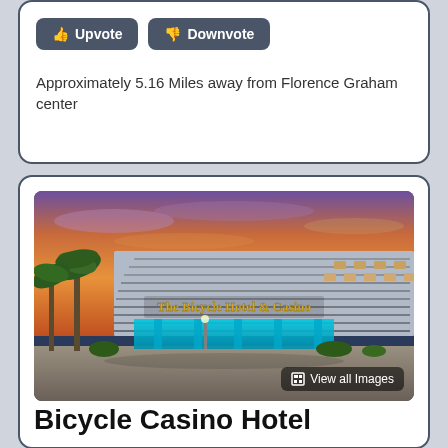Upvote / Downvote buttons
Approximately 5.16 Miles away from Florence Graham center
[Figure (photo): Exterior photo of The Bicycle Hotel & Casino at dusk, showing a large curved multi-story building with palm trees, illuminated blue entrance canopy, and a colorful sunset sky. Text on building reads 'The Bicycle Hotel & Casino'. Bottom right shows 'View all Images' button.]
Bicycle Casino Hotel